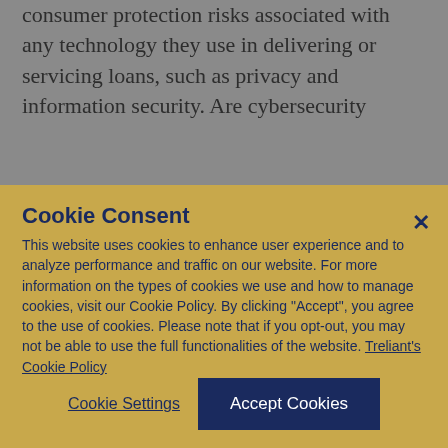consumer protection risks associated with any technology they use in delivering or servicing loans, such as privacy and information security. Are cybersecurity
Cookie Consent
This website uses cookies to enhance user experience and to analyze performance and traffic on our website. For more information on the types of cookies we use and how to manage cookies, visit our Cookie Policy. By clicking "Accept", you agree to the use of cookies. Please note that if you opt-out, you may not be able to use the full functionalities of the website. Treliant's Cookie Policy
Cookie Settings
Accept Cookies